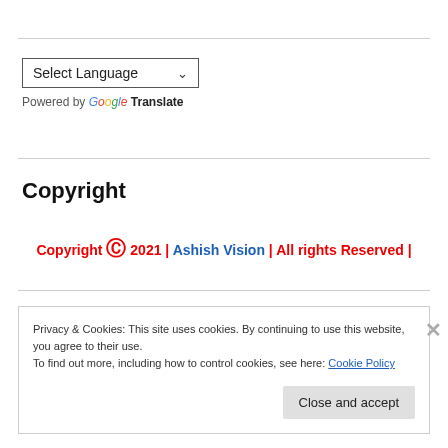[Figure (screenshot): A language selector dropdown showing 'Select Language' with a dropdown arrow]
Powered by Google Translate
Copyright
Copyright © 2021 | Ashish Vision | All rights Reserved |
Privacy & Cookies: This site uses cookies. By continuing to use this website, you agree to their use.
To find out more, including how to control cookies, see here: Cookie Policy
Close and accept